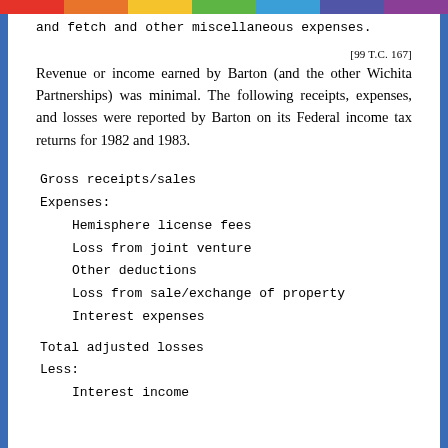and fetch and other miscellaneous expenses.
[99 T.C. 167]
Revenue or income earned by Barton (and the other Wichita Partnerships) was minimal. The following receipts, expenses, and losses were reported by Barton on its Federal income tax returns for 1982 and 1983.
Gross receipts/sales
Expenses:
Hemisphere license fees
Loss from joint venture
Other deductions
Loss from sale/exchange of property
Interest expenses
Total adjusted losses
Less:
Interest income